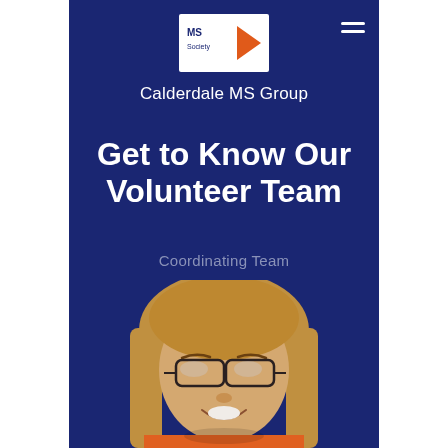[Figure (logo): MS Society logo — white box with orange play-button arrow and 'MS Society' text]
Calderdale MS Group
Get to Know Our Volunteer Team
Coordinating Team
[Figure (photo): Smiling woman with blonde hair and dark-rimmed glasses, wearing an orange top, photographed from shoulders up]